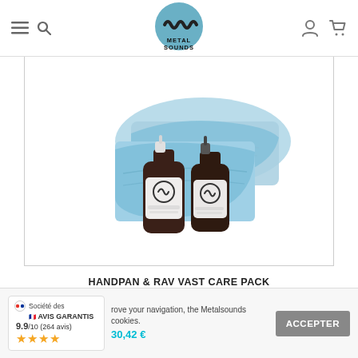Metal Sounds — navigation header with menu, search, logo, user and cart icons
[Figure (photo): Product photo of Handpan & RAV Vast Care Pack: two dark amber spray bottles with Metal Sounds logo labels and two folded light blue microfiber cloths on a white background]
HANDPAN & RAV VAST CARE PACK
rove your navigation, the Metalsounds cookies.
30,42 €
[Figure (logo): Société des Avis Garantis badge: 9.9/10 (264 avis) with four gold stars]
ACCEPTER